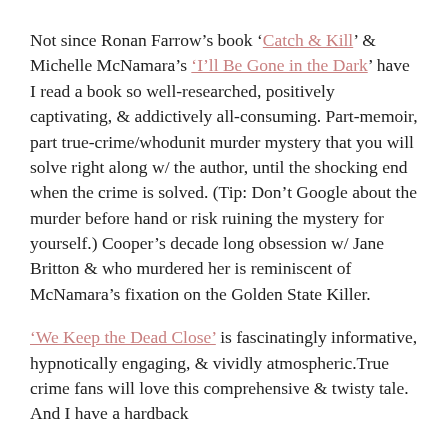Not since Ronan Farrow's book 'Catch & Kill' & Michelle McNamara's 'I'll Be Gone in the Dark'' have I read a book so well-researched, positively captivating, & addictively all-consuming. Part-memoir, part true-crime/whodunit murder mystery that you will solve right along w/ the author, until the shocking end when the crime is solved. (Tip: Don't Google about the murder before hand or risk ruining the mystery for yourself.) Cooper's decade long obsession w/ Jane Britton & who murdered her is reminiscent of McNamara's fixation on the Golden State Killer.
'We Keep the Dead Close' is fascinatingly informative, hypnotically engaging, & vividly atmospheric.True crime fans will love this comprehensive & twisty tale. And I have a hardback